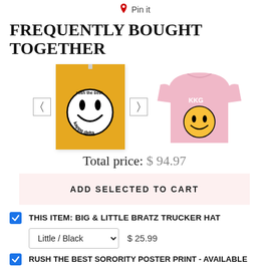Pin it
FREQUENTLY BOUGHT TOGETHER
[Figure (photo): Two product images side by side: a yellow 'kappa delta' smiley face poster print and a pink 'KKG' smiley face crewneck sweatshirt, with navigation arrows on either side]
Total price: $ 94.97
ADD SELECTED TO CART
THIS ITEM: BIG & LITTLE BRATZ TRUCKER HAT
Little / Black   $ 25.99
RUSH THE BEST SORORITY POSTER PRINT - AVAILABLE
Kappa Delta / 13x19 in